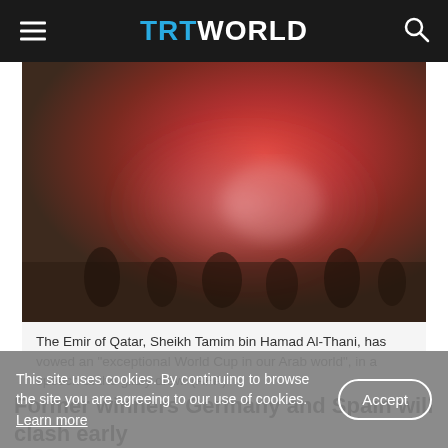TRT WORLD
[Figure (photo): Blurred photo of a glitzy ceremonial event with red and warm tones, likely the FIFA World Cup draw ceremony in Qatar.]
The Emir of Qatar, Sheikh Tamim bin Hamad Al-Thani, has vowed an "exceptional World Cup in our Arab world", in a speech at the glitzy draw. (AFP)
Former winners Germany and Spain will clash early
This site uses cookies. By continuing to browse the site you are agreeing to our use of cookies. Learn more